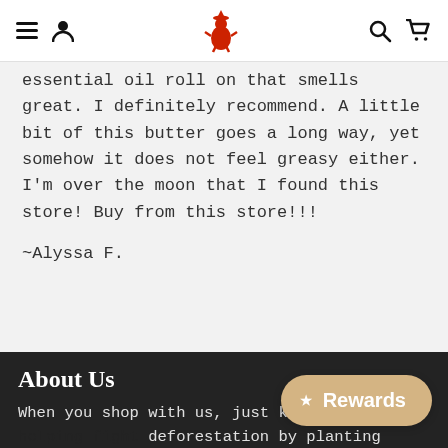Navigation bar with menu, user, logo, search, and cart icons
essential oil roll on that smells great. I definitely recommend. A little bit of this butter goes a long way, yet somehow it does not feel greasy either. I'm over the moon that I found this store! Buy from this store!!!
~Alyssa F.
About Us
When you shop with us, just know you are helping fight deforestation by planting trees. Our mission is to help in taking care of our planate.